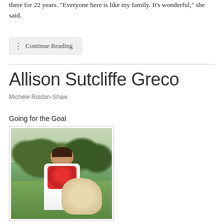there for 22 years. “Everyone here is like my family. It’s wonderful,” she said.
⋮ Continue Reading
Allison Sutcliffe Greco
Michele Roldan-Shaw
Going for the Goal
[Figure (photo): A woman with dark hair wearing a floral top seated outdoors with a golden retriever dog, with trees in the background]